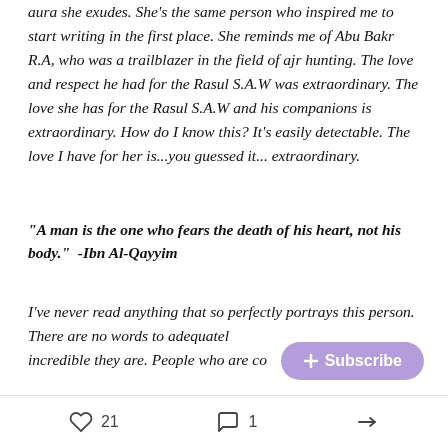aura she exudes. She's the same person who inspired me to start writing in the first place. She reminds me of Abu Bakr R.A, who was a trailblazer in the field of ajr hunting. The love and respect he had for the Rasul S.A.W was extraordinary. The love she has for the Rasul S.A.W and his companions is extraordinary. How do I know this? It's easily detectable. The love I have for her is...you guessed it... extraordinary.
"A man is the one who fears the death of his heart, not his body."  -Ibn Al-Qayyim
I've never read anything that so perfectly portrays this person. There are no words to adequately describe how incredible they are. People who are co...
[Figure (other): Purple rounded Subscribe button with + icon overlaying the bottom-right of the text]